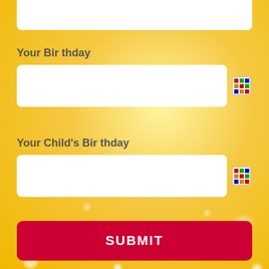[Figure (screenshot): Top portion of a form input box, partially cropped at the top of the page, white rounded rectangle input field on yellow background]
Your Birthday
[Figure (screenshot): White rounded rectangle input field for Your Birthday with a calendar/date picker icon on the right]
Your Child's Birthday
[Figure (screenshot): White rounded rectangle input field for Your Child's Birthday with a calendar/date picker icon on the right]
[Figure (screenshot): Red SUBMIT button with white uppercase text, rounded corners]